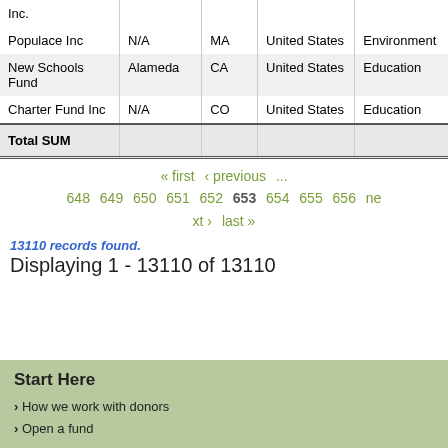| Name | City | State | Country | Subject |
| --- | --- | --- | --- | --- |
| Inc. |  |  |  |  |
| Populace Inc | N/A | MA | United States | Environment |
| New Schools Fund | Alameda | CA | United States | Education |
| Charter Fund Inc | N/A | CO | United States | Education |
| Total SUM |  |  |  |  |
« first  ‹ previous  ...  648  649  650  651  652  653  654  655  656  next ›  last »
13110 records found.
Displaying 1 - 13110 of 13110
Start Here
How we work with donors
Open a fund